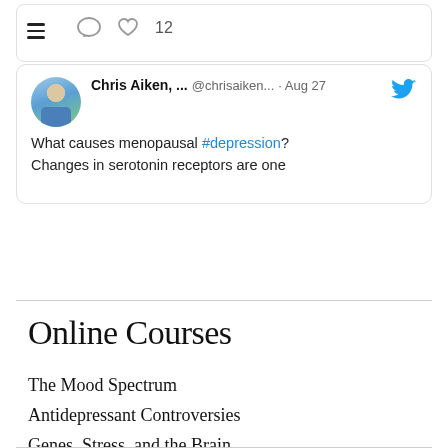[Figure (screenshot): Top portion of a social media/app interface showing a hamburger menu icon, comment icon, and heart icon with 12 likes]
[Figure (screenshot): Tweet card by Chris Aiken (@chrisaiken...) dated Aug 27 with Twitter bird icon. Text: 'What causes menopausal #depression? Changes in serotonin receptors are one' (truncated). Profile photo shown.]
Online Courses
The Mood Spectrum
Antidepressant Controversies
Genes, Stress, and the Brain
The Bipolar Brain